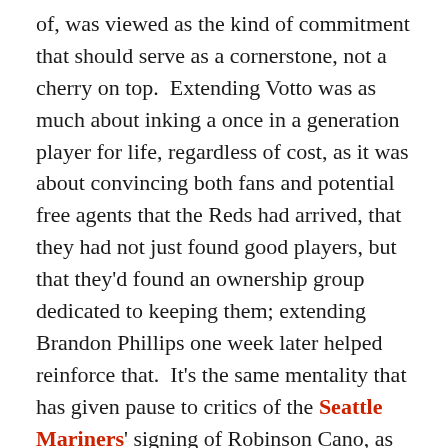of, was viewed as the kind of commitment that should serve as a cornerstone, not a cherry on top. Extending Votto was as much about inking a once in a generation player for life, regardless of cost, as it was about convincing both fans and potential free agents that the Reds had arrived, that they had not just found good players, but that they'd found an ownership group dedicated to keeping them; extending Brandon Phillips one week later helped reinforce that. It's the same mentality that has given pause to critics of the Seattle Mariners' signing of Robinson Cano, as it's a deal that may serve as much as a recruiting tool for other players as much as one done solely in a vacuum.
The days of the Reds having no money and talking to no one were over, finally relegated to the nether regions of baseball where only the Royals and